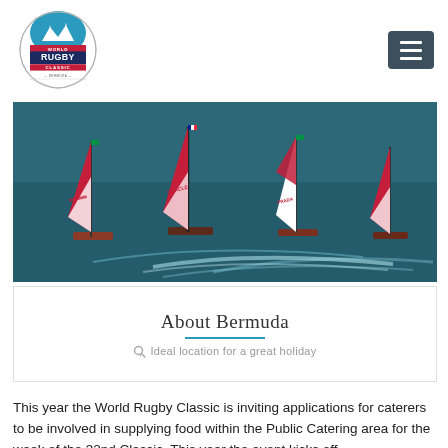[Figure (logo): World Rugby Classic Bermuda circular logo with shield and mountain/wave design, text 'WORLD RUGBY CLASSIC BERMUDA']
[Figure (photo): Aerial view of sailing catamarans racing on dark blue water, with colorful sails including red, white and green designs. ORACLE and PRADA markings visible on sails.]
About Bermuda
Ideal location for a great holiday
This year the World Rugby Classic is inviting applications for caterers to be involved in supplying food within the Public Catering area for the week of the 32nd Classic. This year the event kicks off